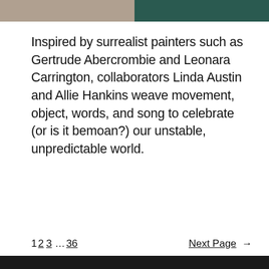[Figure (photo): Top portion of a photo showing two people cropped, left side warm/tan tones, right side dark teal tones, with a dark border strip across the very top.]
Inspired by surrealist painters such as Gertrude Abercrombie and Leonara Carrington, collaborators Linda Austin and Allie Hankins weave movement, object, words, and song to celebrate (or is it bemoan?) our unstable, unpredictable world.
1 2 3 … 36    Next Page →